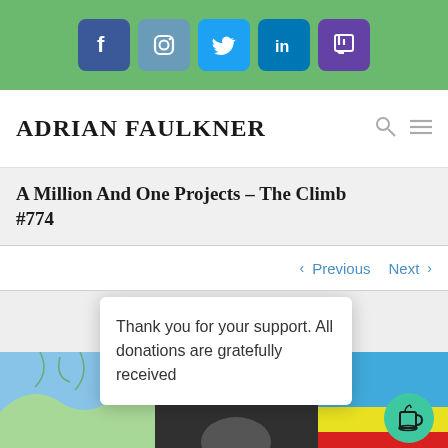[Figure (screenshot): Social media icon bar with Facebook, Instagram, Twitter, LinkedIn, and Twitch icons on a green background]
ADRIAN FAULKNER
A Million And One Projects – The Climb #774
< Previous   Next >
Thank you for your support. All donations are gratefully received